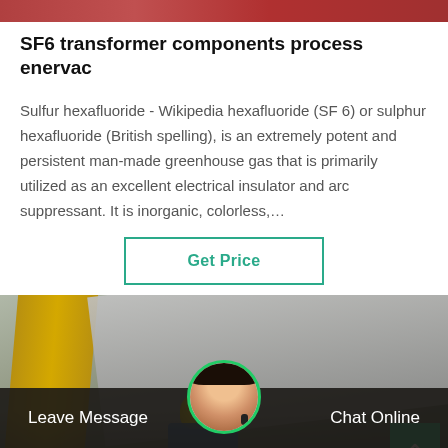[Figure (photo): Top banner image with reddish/orange tones visible at the top of the page]
SF6 transformer components process enervac
Sulfur hexafluoride - Wikipedia hexafluoride (SF 6) or sulphur hexafluoride (British spelling), is an extremely potent and persistent man-made greenhouse gas that is primarily utilized as an excellent electrical insulator and arc suppressant. It is inorganic, colorless,…
Get Price
[Figure (photo): Photo of industrial transformer or electrical equipment outdoors, with yellow beam/support structure, large gray panel, worker with yellow helmet visible, and trees in background]
Leave Message
Chat Online